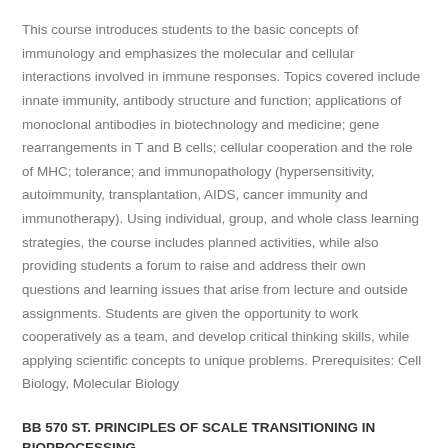This course introduces students to the basic concepts of immunology and emphasizes the molecular and cellular interactions involved in immune responses. Topics covered include innate immunity, antibody structure and function; applications of monoclonal antibodies in biotechnology and medicine; gene rearrangements in T and B cells; cellular cooperation and the role of MHC; tolerance; and immunopathology (hypersensitivity, autoimmunity, transplantation, AIDS, cancer immunity and immunotherapy). Using individual, group, and whole class learning strategies, the course includes planned activities, while also providing students a forum to raise and address their own questions and learning issues that arise from lecture and outside assignments. Students are given the opportunity to work cooperatively as a team, and develop critical thinking skills, while applying scientific concepts to unique problems. Prerequisites: Cell Biology, Molecular Biology
BB 570 ST. PRINCIPLES OF SCALE TRANSITIONING IN BIOPROCESSING